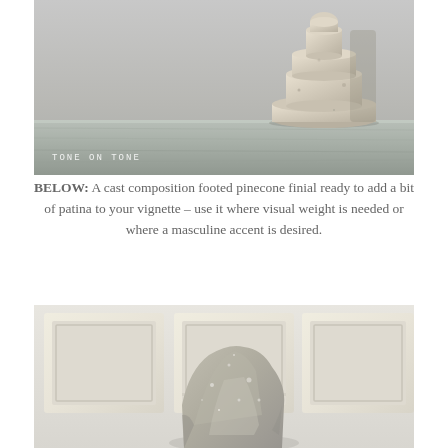[Figure (photo): Photograph of a cast composition footed pinecone finial resting on a pale blue-grey weathered wood shelf, with 'TONE ON TONE' watermark text in lower left corner.]
BELOW: A cast composition footed pinecone finial ready to add a bit of patina to your vignette – use it where visual weight is needed or where a masculine accent is desired.
[Figure (photo): Photograph of a rough textured stone or crystal mineral specimen displayed in front of three white ornate picture frames hanging on a light wall.]